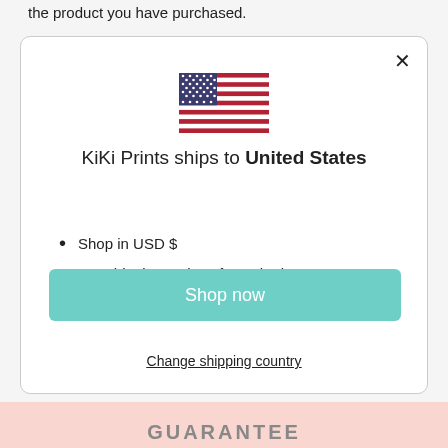the product you have purchased.
[Figure (illustration): US flag SVG illustration inside a modal dialog]
KiKi Prints ships to United States
Shop in USD $
Get shipping options for United States
Shop now
Change shipping country